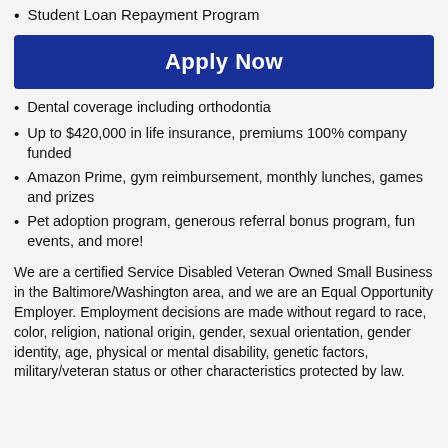Student Loan Repayment Program
Apply Now
Dental coverage including orthodontia
Up to $420,000 in life insurance, premiums 100% company funded
Amazon Prime, gym reimbursement, monthly lunches, games and prizes
Pet adoption program, generous referral bonus program, fun events, and more!
We are a certified Service Disabled Veteran Owned Small Business in the Baltimore/Washington area, and we are an Equal Opportunity Employer. Employment decisions are made without regard to race, color, religion, national origin, gender, sexual orientation, gender identity, age, physical or mental disability, genetic factors, military/veteran status or other characteristics protected by law.